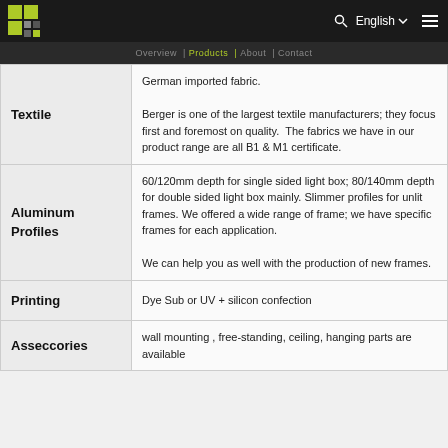English
| Category | Description |
| --- | --- |
| Textile | German imported fabric.

Berger is one of the largest textile manufacturers; they focus first and foremost on quality.  The fabrics we have in our product range are all B1 & M1 certificate. |
| Aluminum Profiles | 60/120mm depth for single sided light box; 80/140mm depth for double sided light box mainly. Slimmer profiles for unlit frames. We offered a wide range of frame; we have specific frames for each application. We can help you as well with the production of new frames. |
| Printing | Dye Sub or UV + silicon confection |
| Asseccories | wall mounting , free-standing, ceiling, hanging parts are available |